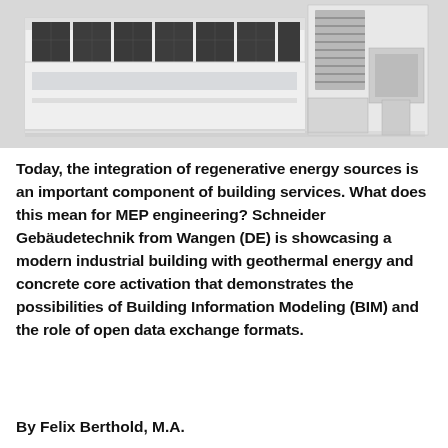[Figure (illustration): 3D rendering of a modern industrial/commercial building with white facade, solar panels or dark glazing on the upper portion, and visible mechanical/HVAC equipment on the right side, shown on a light gray background.]
Today, the integration of regenerative energy sources is an important component of building services. What does this mean for MEP engineering? Schneider Gebäudetechnik from Wangen (DE) is showcasing a modern industrial building with geothermal energy and concrete core activation that demonstrates the possibilities of Building Information Modeling (BIM) and the role of open data exchange formats.
By Felix Berthold, M.A.